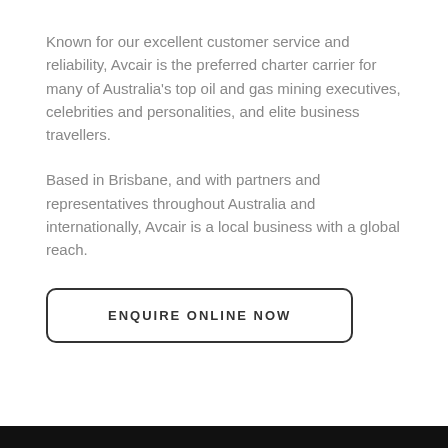Known for our excellent customer service and reliability, Avcair is the preferred charter carrier for many of Australia's top oil and gas mining executives, celebrities and personalities, and elite business travellers.
Based in Brisbane, and with partners and representatives throughout Australia and internationally, Avcair is a local business with a global reach.
ENQUIRE ONLINE NOW